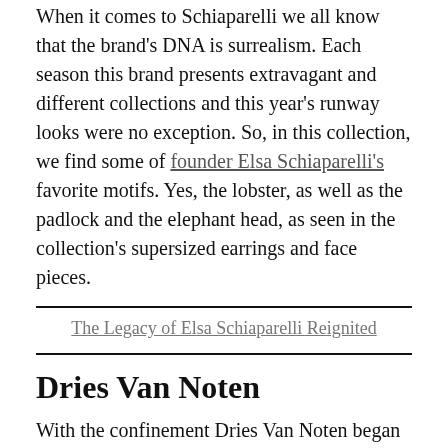When it comes to Schiaparelli we all know that the brand's DNA is surrealism. Each season this brand presents extravagant and different collections and this year's runway looks were no exception. So, in this collection, we find some of founder Elsa Schiaparelli's favorite motifs. Yes, the lobster, as well as the padlock and the elephant head, as seen in the collection's supersized earrings and face pieces.
The Legacy of Elsa Schiaparelli Reignited
Dries Van Noten
With the confinement Dries Van Noten began to wonder what the future of fashion would be and what impact this pandemic would have on the future of this industry. Thus, the inspiration to create an optimistic and cheerful collection arose. Vivid colors appear, dresses with balloon sleeves,